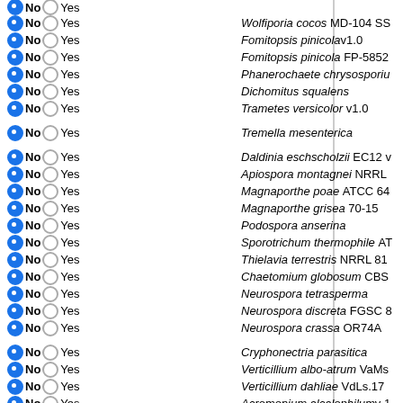No / Yes — Wolfiporia cocos MD-104 SS
No / Yes — Fomitopsis pinicolav1.0
No / Yes — Fomitopsis pinicola FP-5852
No / Yes — Phanerochaete chrysosporium
No / Yes — Dichomitus squalens
No / Yes — Trametes versicolor v1.0
No / Yes — Tremella mesenterica
No / Yes — Daldinia eschscholzii EC12 v
No / Yes — Apiospora montagnei NRRL
No / Yes — Magnaporthe poae ATCC 64
No / Yes — Magnaporthe grisea 70-15
No / Yes — Podospora anserina
No / Yes — Sporotrichum thermophile AT
No / Yes — Thielavia terrestris NRRL 81
No / Yes — Chaetomium globosum CBS
No / Yes — Neurospora tetrasperma
No / Yes — Neurospora discreta FGSC 8
No / Yes — Neurospora crassa OR74A
No / Yes — Cryphonectria parasitica
No / Yes — Verticillium albo-atrum VaMs
No / Yes — Verticillium dahliae VdLs.17
No / Yes — Acremonium alcalophilumv 1